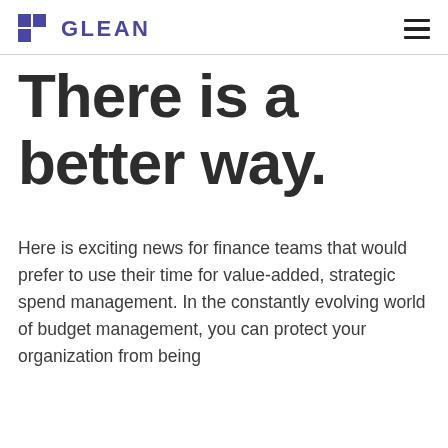GLEAN
There is a better way.
Here is exciting news for finance teams that would prefer to use their time for value-added, strategic spend management. In the constantly evolving world of budget management, you can protect your organization from being